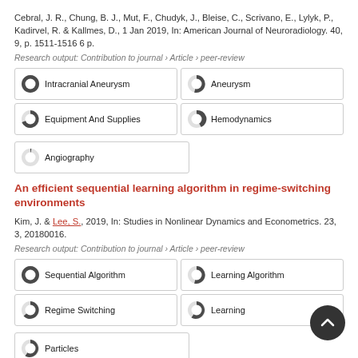Cebral, J. R., Chung, B. J., Mut, F., Chudyk, J., Bleise, C., Scrivano, E., Lylyk, P., Kadirvel, R. & Kallmes, D., 1 Jan 2019, In: American Journal of Neuroradiology. 40, 9, p. 1511-1516 6 p.
Research output: Contribution to journal › Article › peer-review
[Figure (infographic): Keyword badges with pie chart icons: Intracranial Aneurysm (100%), Aneurysm (~90%), Equipment And Supplies (~60%), Hemodynamics (~20%), Angiography (~10%)]
An efficient sequential learning algorithm in regime-switching environments
Kim, J. & Lee, S., 2019, In: Studies in Nonlinear Dynamics and Econometrics. 23, 3, 20180016.
Research output: Contribution to journal › Article › peer-review
[Figure (infographic): Keyword badges with pie chart icons: Sequential Algorithm (100%), Learning Algorithm (~90%), Regime Switching (~85%), Learning (~70%), Particles (~70%)]